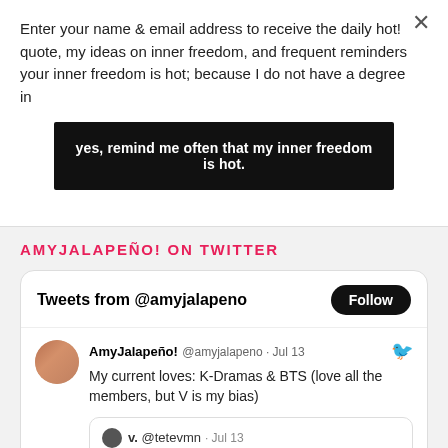Enter your name & email address to receive the daily hot! quote, my ideas on inner freedom, and frequent reminders your inner freedom is hot; because I do not have a degree in
yes, remind me often that my inner freedom is hot.
AMYJALAPEÑO! ON TWITTER
[Figure (screenshot): Twitter widget showing Tweets from @amyjalapeno with a Follow button, and a tweet by AmyJalapeño! @amyjalapeno Jul 13 saying 'My current loves: K-Dramas & BTS (love all the members, but V is my bias)' with a retweet box from v. @tetevmn · Jul 13]